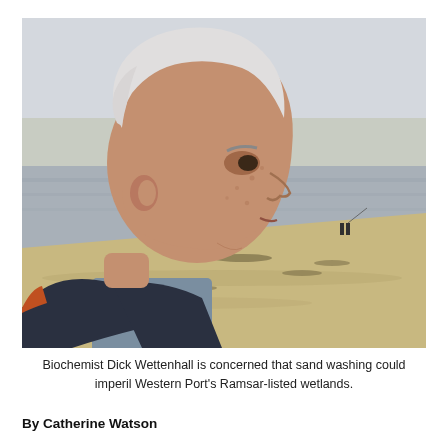[Figure (photo): Side profile of an older man with white hair wearing a dark vest over a blue shirt, standing on a sandy beach with water and cloudy sky in the background. Two small figures are visible in the distance on the beach.]
Biochemist Dick Wettenhall is concerned that sand washing could imperil Western Port's Ramsar-listed wetlands.
By Catherine Watson